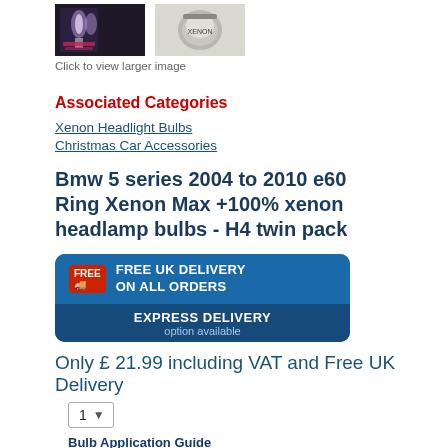[Figure (photo): Two product thumbnail images: left shows xenon headlight bulbs packaging (dark background, purple tint), right shows a cylindrical product (grey/silver)]
Click to view larger image
Associated Categories
Xenon Headlight Bulbs
Christmas Car Accessories
Bmw 5 series 2004 to 2010 e60 Ring Xenon Max +100% xenon headlamp bulbs - H4 twin pack
[Figure (infographic): Delivery banner: FREE UK DELIVERY ON ALL ORDERS, EXPRESS DELIVERY option available]
Only £ 21.99 including VAT and Free UK Delivery
1 (quantity selector dropdown)
Bulb Application Guide
[Figure (other): Green BUY NOW button with shopping cart icon]